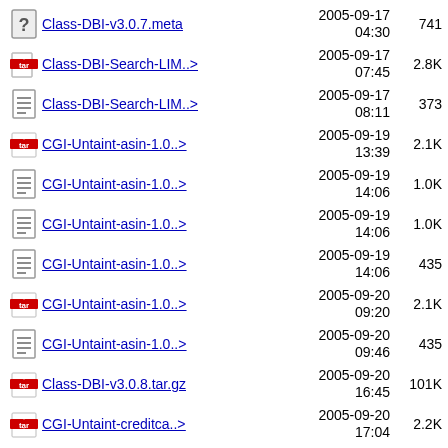Class-DBI-v3.0.7.meta  2005-09-17 04:30  741
Class-DBI-Search-LIM..>  2005-09-17 07:45  2.8K
Class-DBI-Search-LIM..>  2005-09-17 08:11  373
CGI-Untaint-asin-1.0..>  2005-09-19 13:39  2.1K
CGI-Untaint-asin-1.0..>  2005-09-19 14:06  1.0K
CGI-Untaint-asin-1.0..>  2005-09-19 14:06  1.0K
CGI-Untaint-asin-1.0..>  2005-09-19 14:06  435
CGI-Untaint-asin-1.0..>  2005-09-20 09:20  2.1K
CGI-Untaint-asin-1.0..>  2005-09-20 09:46  435
Class-DBI-v3.0.8.tar.gz  2005-09-20 16:45  101K
CGI-Untaint-creditca..>  2005-09-20 17:04  2.2K
2005-09-20